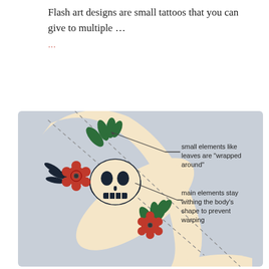Flash art designs are small tattoos that you can give to multiple …
[Figure (illustration): Diagram of a leg with a skull and flower tattoo design. Two callout lines with dashed boundaries indicate: 'small elements like leaves are "wrapped around"' (pointing to leaves at top of tattoo), and 'main elements stay withing the body's shape to prevent warping' (pointing to the skull and flower elements). Dashed diagonal lines show the boundary of the body shape.]